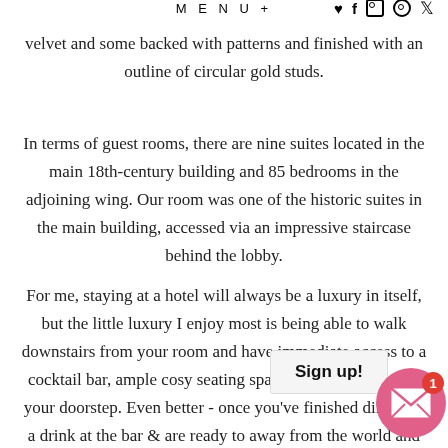MENU+
velvet and some backed with patterns and finished with an outline of circular gold studs.
In terms of guest rooms, there are nine suites located in the main 18th-century building and 85 bedrooms in the adjoining wing. Our room was one of the historic suites in the main building, accessed via an impressive staircase behind the lobby.
For me, staying at a hotel will always be a luxury in itself, but the little luxury I enjoy most is being able to walk downstairs from your room and have immediate access to a cocktail bar, ample cosy seating space and a restaurant on your doorstep. Even better - once you've finished dinner or a drink at the bar & are ready to away from the world and other pe ju straight back up those stairs. Call me lazy but, with no cab to or